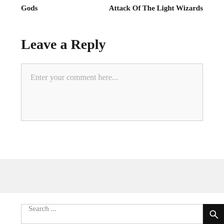Gods
Attack Of The Light Wizards
Leave a Reply
Enter your comment here...
Search ...